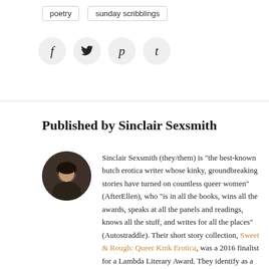poetry
sunday scribblings
[Figure (infographic): Social share icons: Facebook (f), Twitter (bird), Pinterest (p), Tumblr (t) — each in a light grey circle]
Published by Sinclair Sexsmith
[Figure (photo): Circular cropped portrait photo of Sinclair Sexsmith, a person with short dark hair wearing a dark jacket]
Sinclair Sexsmith (they/them) is "the best-known butch erotica writer whose kinky, groundbreaking stories have turned on countless queer women" (AfterEllen), who "is in all the books, wins all the awards, speaks at all the panels and readings, knows all the stuff, and writes for all the places" (Autostraddle). Their short story collection, Sweet & Rough: Queer Kink Erotica, was a 2016 finalist for a Lambda Literary Award. They identify as a white